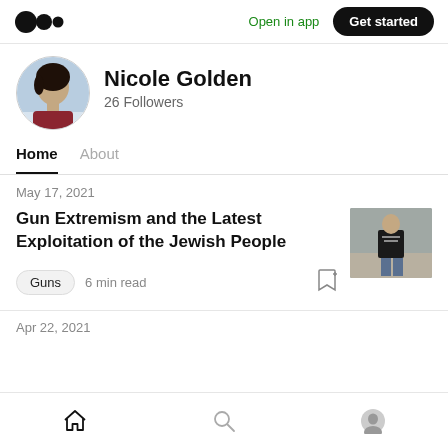[Figure (screenshot): Medium app logo — three overlapping black circles]
Open in app
Get started
[Figure (photo): Profile photo of Nicole Golden — woman with dark hair]
Nicole Golden
26 Followers
Home
About
May 17, 2021
Gun Extremism and the Latest Exploitation of the Jewish People
[Figure (photo): Thumbnail image of a person in a black t-shirt standing indoors]
Guns  6 min read
Apr 22, 2021